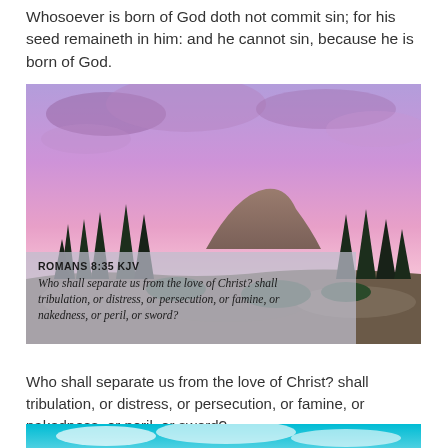Whosoever is born of God doth not commit sin; for his seed remaineth in him: and he cannot sin, because he is born of God.
[Figure (photo): Landscape photo of mountains and pine trees under a dramatic purple/pink sunset sky, with a semi-transparent overlay box showing Romans 8:35 KJV verse text.]
Romans 8:35 (KJV) »
Who shall separate us from the love of Christ? shall tribulation, or distress, or persecution, or famine, or nakedness, or peril, or sword?
[Figure (photo): Partial landscape photo showing blue sky with clouds and terrain, cropped at the bottom of the page.]